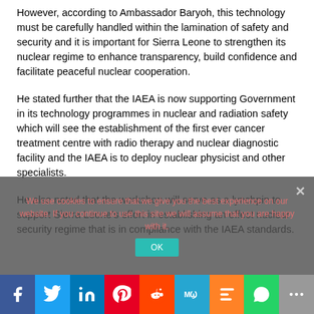However, according to Ambassador Baryoh, this technology must be carefully handled within the lamination of safety and security and it is important for Sierra Leone to strengthen its nuclear regime to enhance transparency, build confidence and facilitate peaceful nuclear cooperation.
He stated further that the IAEA is now supporting Government in its technology programmes in nuclear and radiation safety which will see the establishment of the first ever cancer treatment centre with radio therapy and nuclear diagnostic  facility and the IAEA is to deploy nuclear physicist and other specialists.
He also noted that the workshop will serve as a lynchpin to support Sierra Leone's effort in establishing an effect nuclear security regime that is in compliance with the IAEA standards.